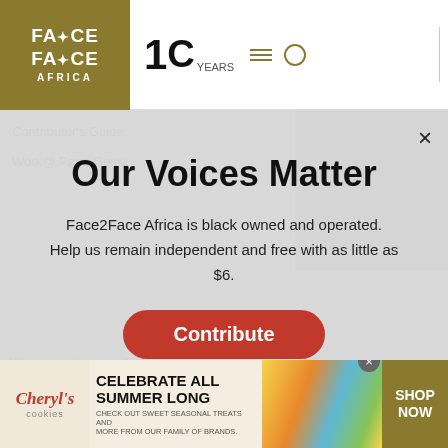Face2Face Africa - 10 Years
Our Voices Matter
Face2Face Africa is black owned and operated. Help us remain independent and free with as little as $6.
Contribute
Contributor's Guide
Work@ Pana Genius
We use cookies to collect and analyse information on site performance and usage, and to enhance and customise content and advertising. By Clicking Accept, you are clicking into our web...
[Figure (screenshot): Advertisement banner for Cheryl's Cookies: CELEBRATE ALL SUMMER LONG - CHECK OUT SWEET SEASONAL TREATS AND MORE FROM OUR FAMILY OF BRANDS. SHOP NOW]